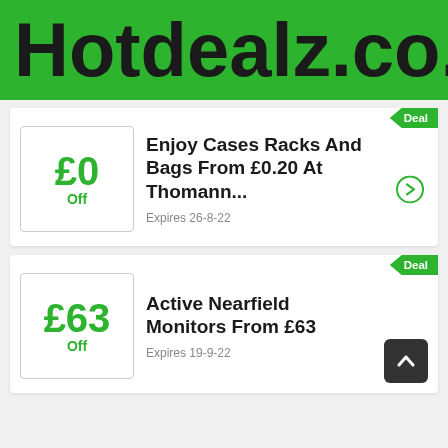Hotdealz.co.uk
Deal
[Figure (infographic): Deal card: £0 Off — Enjoy Cases Racks And Bags From £0.20 At Thomann... Expires 26-8-22]
Deal
[Figure (infographic): Deal card: £63 Off — Active Nearfield Monitors From £63 Expires 19-9-22]